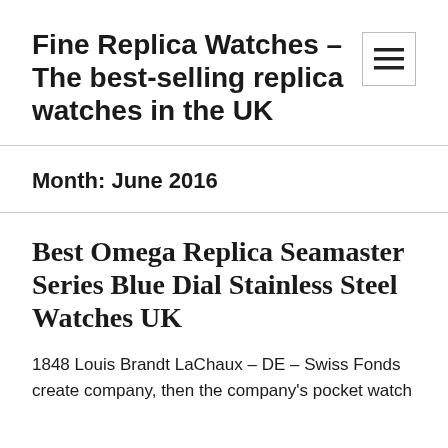Fine Replica Watches – The best-selling replica watches in the UK
Month: June 2016
Best Omega Replica Seamaster Series Blue Dial Stainless Steel Watches UK
1848 Louis Brandt LaChaux – DE – Swiss Fonds create company, then the company's pocket watch